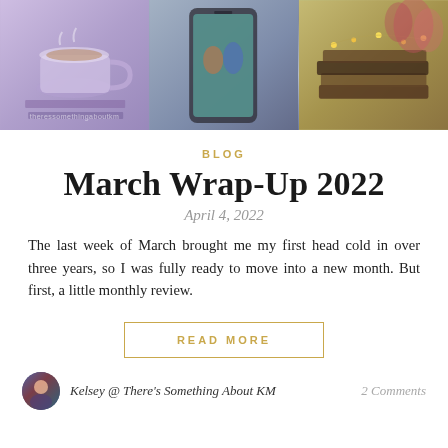[Figure (photo): Three-panel header image: left panel shows a purple/lavender mug of coffee/tea with books, center panel shows a smartphone displaying an illustrated app or book cover, right panel shows a stack of books with fairy lights and pink flowers. Watermark text 'theressomethingaboutkm' overlaid across center.]
BLOG
March Wrap-Up 2022
April 4, 2022
The last week of March brought me my first head cold in over three years, so I was fully ready to move into a new month. But first, a little monthly review.
READ MORE
Kelsey @ There's Something About KM
2 Comments